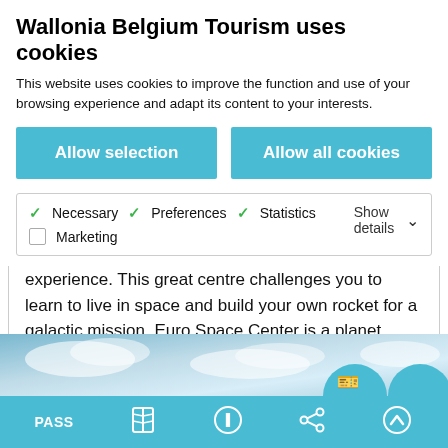Wallonia Belgium Tourism uses cookies
This website uses cookies to improve the function and use of your browsing experience and adapt its content to your interests.
Allow selection
Allow all cookies
Necessary  Preferences  Statistics  Marketing  Show details
experience. This great centre challenges you to learn to live in space and build your own rocket for a galactic mission. Euro Space Center is a planet everyone who dreams of galaxies and
[Figure (photo): Partial view of sky and clouds image strip at bottom of page]
PASS